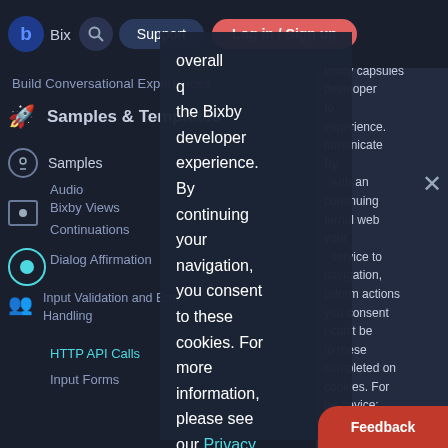Bixby  [search icon]  Support  Log in / Sign up
Build Conversational Experiences
Samples & Templates
Samples
Audio
Bixby Views
Continuations
Dialog Affirmation
Input Validation and Error Handling
HTTP API Calls
Input Forms
[Figure (screenshot): Cookie consent overlay with text: 'overall q[uality] [of] the Bixby [Bixby capsules] developer [to] experience. [communicate] By [with an] continuing [t]ernal web your [service to] navigation, [p]erform actions you consent [t]hat can't be to these [completed on] cookies. For [t]he device: more [fetching the] information, [w]eather report please see [f]or a given our Privacy [l]ocation, Policy | [g]etting a list of [?][?][?][?][?].' with a coral Log in / Sign up button at top and Feedback button at bottom right.]